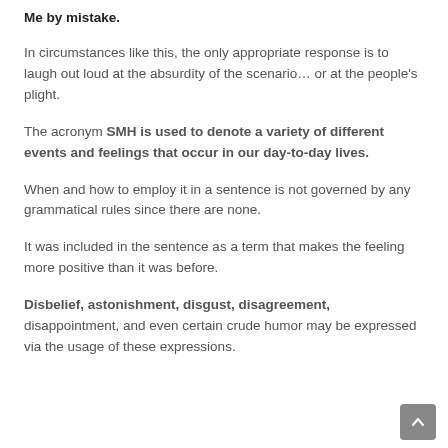Me by mistake.
In circumstances like this, the only appropriate response is to laugh out loud at the absurdity of the scenario… or at the people's plight.
The acronym SMH is used to denote a variety of different events and feelings that occur in our day-to-day lives.
When and how to employ it in a sentence is not governed by any grammatical rules since there are none.
It was included in the sentence as a term that makes the feeling more positive than it was before.
Disbelief, astonishment, disgust, disagreement, disappointment, and even certain crude humor may be expressed via the usage of these expressions.